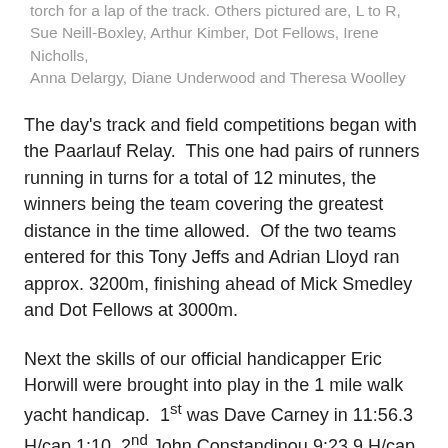torch for a lap of the track. Others pictured are, L to R, Sue Neill-Boxley, Arthur Kimber, Dot Fellows, Irene Nicholls, Anna Delargy, Diane Underwood and Theresa Woolley
The day's track and field competitions began with the Paarlauf Relay. This one had pairs of runners running in turns for a total of 12 minutes, the winners being the team covering the greatest distance in the time allowed. Of the two teams entered for this Tony Jeffs and Adrian Lloyd ran approx. 3200m, finishing ahead of Mick Smedley and Dot Fellows at 3000m.
Next the skills of our official handicapper Eric Horwill were brought into play in the 1 mile walk yacht handicap. 1st was Dave Carney in 11:56.3 H/cap 1:10, 2nd John Constandinou 9:23.9 H/cap 3:50, with Eric handicapping himself out to 6th place of 6.